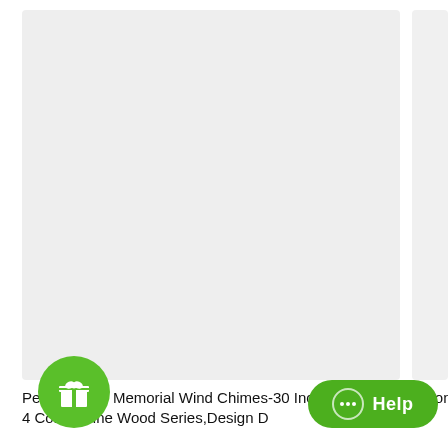[Figure (photo): Large light gray placeholder image card on the left side, representing a product image area]
[Figure (photo): Partial light gray placeholder image card on the right side, partially cut off]
Personalized Memorial Wind Chimes-30 Inch, 6 Tones, 4 Colors-Pine Wood Series,Design D
Personalize... 1 Co...